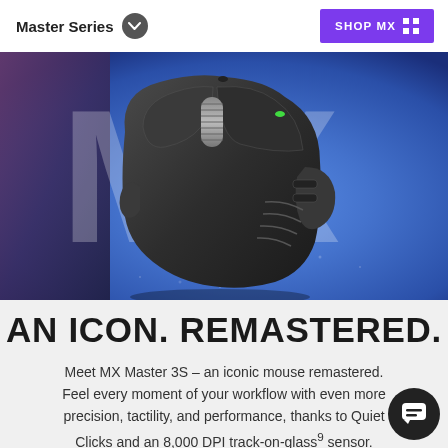Master Series
SHOP MX
[Figure (photo): Logitech MX Master 3S wireless mouse in graphite color, floating in front of a blue gradient background with large white 'MX' letters behind it]
AN ICON. REMASTERED.
Meet MX Master 3S – an iconic mouse remastered. Feel every moment of your workflow with even more precision, tactility, and performance, thanks to Quiet Clicks and an 8,000 DPI track-on-glass⁹ sensor.